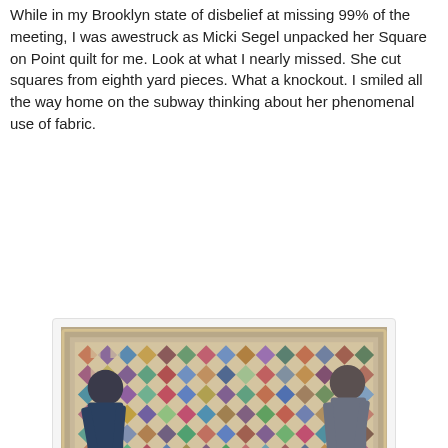While in my Brooklyn state of disbelief at missing 99% of the meeting, I was awestruck as Micki Segel unpacked her Square on Point quilt for me. Look at what I nearly missed. She cut squares from eighth yard pieces. What a knockout. I smiled all the way home on the subway thinking about her phenomenal use of fabric.
[Figure (photo): Two people holding up a large Square on Point quilt top with colorful patchwork diamonds set on point in a tan/beige background, displayed in what appears to be a meeting room.]
Micki Segel (right) and her marvelous Square on Point quilt top